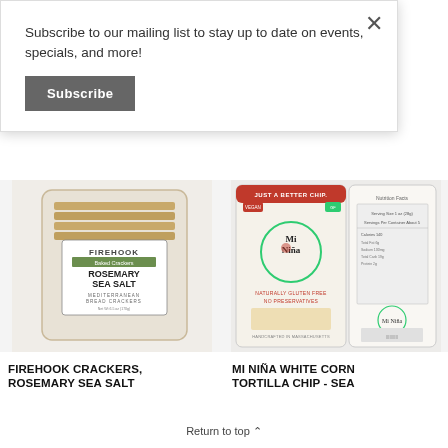Subscribe to our mailing list to stay up to date on events, specials, and more!
Subscribe
[Figure (photo): Firehook Rosemary Sea Salt Mediterranean Bread Crackers in a clear plastic container, front view showing label with product name]
[Figure (photo): Mi Nina White Corn Tortilla Chip bag, front and back view. Front reads: JUST A BETTER CHIP. Mi Nina. NATURALLY GLUTEN FREE. NO PRESERVATIVES. HANDCRAFTED IN MASSACHUSETTS.]
FIREHOOK CRACKERS, ROSEMARY SEA SALT
MI NIÑA WHITE CORN TORTILLA CHIP - SEA
Return to top ^